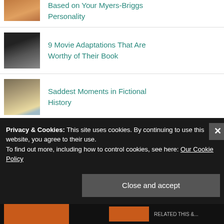Based on Your Myers-Briggs Personality
9 Movie Adaptations That Are Worthy of Their Book
Saddest Moments in Fictional History
Powerful Themes to Appreciate in Khaled Hosseini’s Novels
Privacy & Cookies: This site uses cookies. By continuing to use this website, you agree to their use.
To find out more, including how to control cookies, see here: Our Cookie Policy
Close and accept